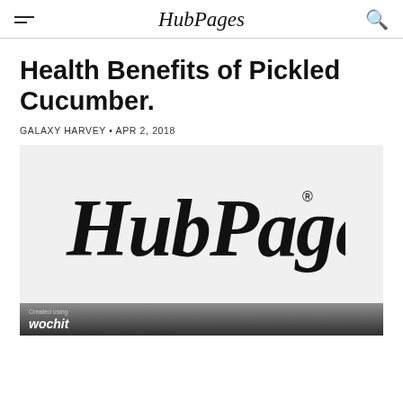HubPages
Health Benefits of Pickled Cucumber.
GALAXY HARVEY • APR 2, 2018
[Figure (logo): HubPages logo in large script font on light gray background, with registered trademark symbol. Bottom bar shows 'Created using wochit' branding.]